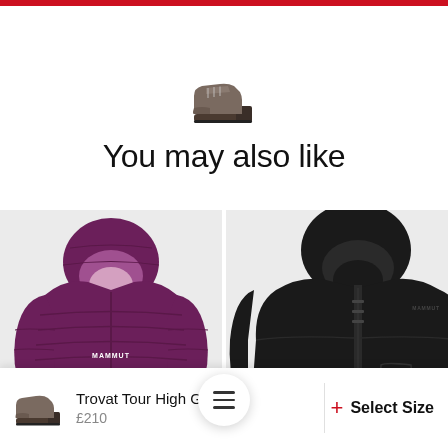[Figure (photo): Small hiking boot shoe icon centered on white background]
You may also like
[Figure (photo): Purple Mammut down puffer jacket with hood on grey background]
[Figure (photo): Black Mammut jacket on grey background, partially visible]
Trovat Tour High GTX...
£210
Select Size